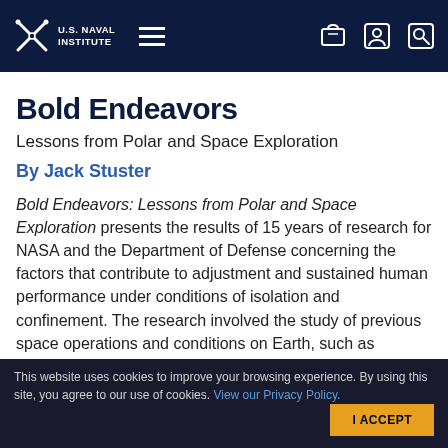U.S. Naval Institute
Bold Endeavors
Lessons from Polar and Space Exploration
By Jack Stuster
Bold Endeavors: Lessons from Polar and Space Exploration presents the results of 15 years of research for NASA and the Department of Defense concerning the factors that contribute to adjustment and sustained human performance under conditions of isolation and confinement. The research involved the study of previous space operations and conditions on Earth, such as submarines, Antarctic
This website uses cookies to improve your browsing experience. By using this site, you agree to our use of cookies. View our Privacy Policy.